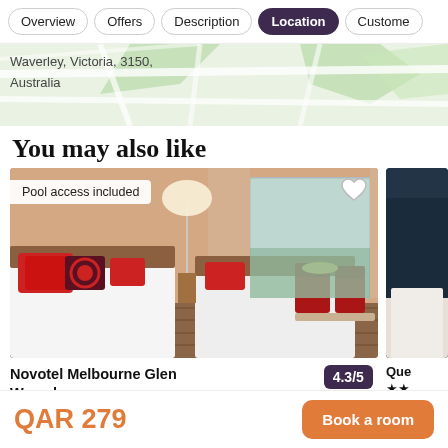Overview | Offers | Description | Location | Customer
Waverley, Victoria, 3150, Australia
You may also like
[Figure (photo): Hotel room photo showing two beds with red and black decorative pillows, a lamp, chairs, and window with outdoor view. Badge reads 'Pool access included'. Heart icon top right.]
Novotel Melbourne Glen Waverley  4.3/5  10 Reviews  ★★★★ • Glen Waverley
[Figure (photo): Partial view of a second hotel card with dark blue interior]
Que ★★
QAR 279
Book a room